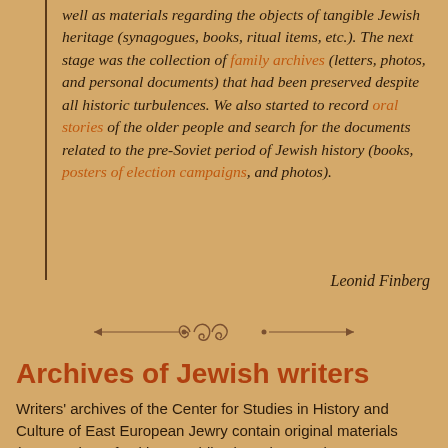well as materials regarding the objects of tangible Jewish heritage (synagogues, books, ritual items, etc.). The next stage was the collection of family archives (letters, photos, and personal documents) that had been preserved despite all historic turbulences. We also started to record oral stories of the older people and search for the documents related to the pre-Soviet period of Jewish history (books, posters of election campaigns, and photos).
Leonid Finberg
[Figure (illustration): Decorative ornamental divider with scrollwork and arrows]
Archives of Jewish writers
Writers' archives of the Center for Studies in History and Culture of East European Jewry contain original materials (manuscripts of writings, publications, letters, documents,